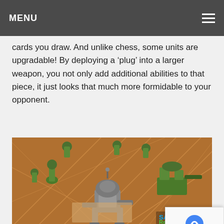MENU
cards you draw. And unlike chess, some units are upgradable! By deploying a ‘plug’ into a larger weapon, you not only add additional abilities to that piece, it just looks that much more formidable to your opponent.
[Figure (photo): Close-up photograph of board game miniatures on a game board with grid lines. A large grey mechanical walker/mech miniature is positioned centrally, surrounded by green army-style figurines and weapon pieces. The board has a brown/orange color with diagonal grid lines. A SAHM Reviews watermark is visible in the bottom right corner.]
[Figure (photo): Partial view of another board game scene showing green background and some figurines, partially obscured by a reCAPTCHA privacy overlay in the bottom right corner reading 'Privacy - Terms'.]